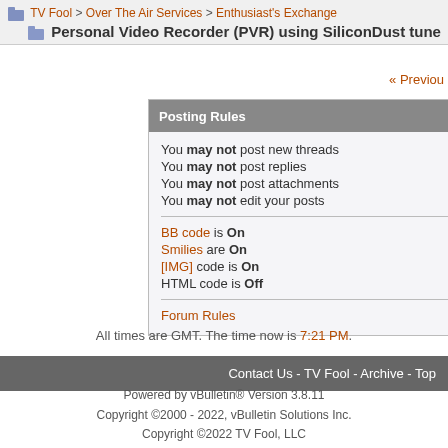TV Fool > Over The Air Services > Enthusiast's Exchange — Personal Video Recorder (PVR) using SiliconDust tune
« Previous
Posting Rules
You may not post new threads
You may not post replies
You may not post attachments
You may not edit your posts
BB code is On
Smilies are On
[IMG] code is On
HTML code is Off
Forum Rules
All times are GMT. The time now is 7:21 PM.
Contact Us - TV Fool - Archive - Top
Powered by vBulletin® Version 3.8.11
Copyright ©2000 - 2022, vBulletin Solutions Inc.
Copyright ©2022 TV Fool, LLC